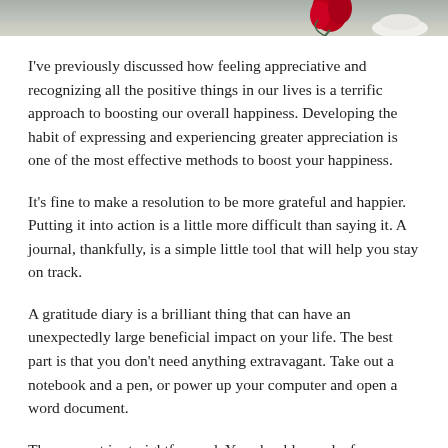[Figure (photo): Top strip of a photo showing a rose and table items, partially cropped]
I've previously discussed how feeling appreciative and recognizing all the positive things in our lives is a terrific approach to boosting our overall happiness. Developing the habit of expressing and experiencing greater appreciation is one of the most effective methods to boost your happiness.
It's fine to make a resolution to be more grateful and happier. Putting it into action is a little more difficult than saying it. A journal, thankfully, is a simple little tool that will help you stay on track.
A gratitude diary is a brilliant thing that can have an unexpectedly large beneficial impact on your life. The best part is that you don't need anything extravagant. Take out a notebook and a pen, or power up your computer and open a word document.
The concept is straightforward. You should spend a few minutes each day writing about the numerous things you